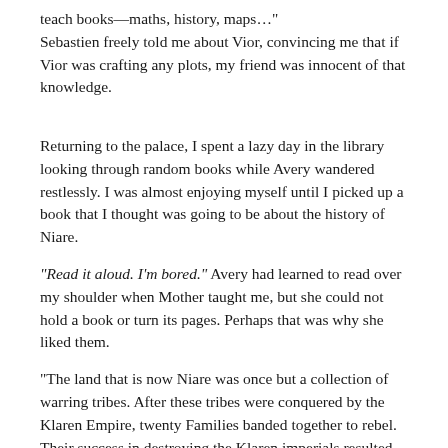teach books—maths, history, maps..." Sebastien freely told me about Vior, convincing me that if Vior was crafting any plots, my friend was innocent of that knowledge.
Returning to the palace, I spent a lazy day in the library looking through random books while Avery wandered restlessly. I was almost enjoying myself until I picked up a book that I thought was going to be about the history of Niare.
“Read it aloud. I’m bored.” Avery had learned to read over my shoulder when Mother taught me, but she could not hold a book or turn its pages. Perhaps that was why she liked them.
“The land that is now Niare was once but a collection of warring tribes. After these tribes were conquered by the Klaren Empire, twenty Families banded together to rebel. Their success in destroying the Klaren imperials resulted in the creation of the country of Niare. Two of the Families were destroyed in the war, but the remaining eighteen